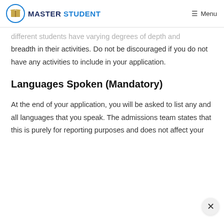MASTER STUDENT  Menu
different students have varying degrees of depth and breadth in their activities. Do not be discouraged if you do not have any activities to include in your application.
Languages Spoken (Mandatory)
At the end of your application, you will be asked to list any and all languages that you speak. The admissions team states that this is purely for reporting purposes and does not affect your